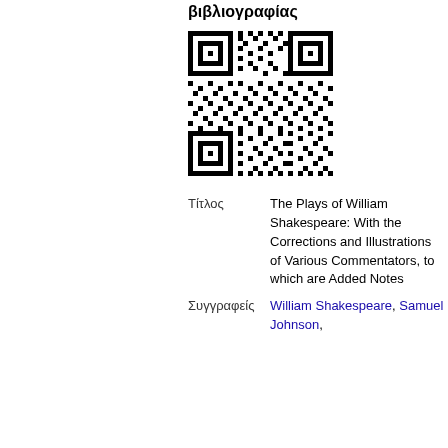βιβλιογραφίας
[Figure (other): QR code image]
| Τίτλος | The Plays of William Shakespeare: With the Corrections and Illustrations of Various Commentators, to which are Added Notes |
| Συγγραφείς | William Shakespeare, Samuel Johnson, |